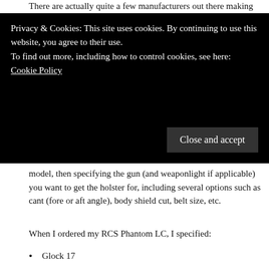There are actually quite a few manufacturers out there making
Privacy & Cookies: This site uses cookies. By continuing to use this website, you agree to their use.
To find out more, including how to control cookies, see here: Cookie Policy
model, then specifying the gun (and weaponlight if applicable) you want to get the holster for, including several options such as cant (fore or aft angle), body shield cut, belt size, etc.
When I ordered my RCS Phantom LC, I specified:
Glock 17
Surefire X300
Right-Handed
Black
1.5″ belt size
Standard (10 degree forward) cant
Short body shield cut
I also noted these special comments: